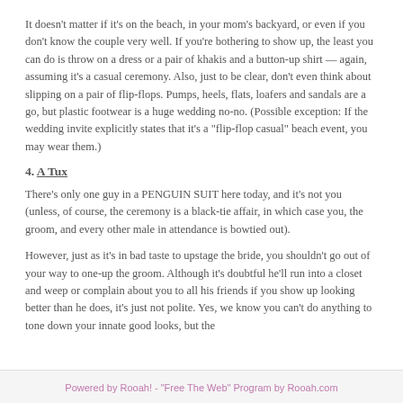It doesn't matter if it's on the beach, in your mom's backyard, or even if you don't know the couple very well. If you're bothering to show up, the least you can do is throw on a dress or a pair of khakis and a button-up shirt — again, assuming it's a casual ceremony. Also, just to be clear, don't even think about slipping on a pair of flip-flops. Pumps, heels, flats, loafers and sandals are a go, but plastic footwear is a huge wedding no-no. (Possible exception: If the wedding invite explicitly states that it's a "flip-flop casual" beach event, you may wear them.)
4. A Tux
There's only one guy in a PENGUIN SUIT here today, and it's not you (unless, of course, the ceremony is a black-tie affair, in which case you, the groom, and every other male in attendance is bowtied out).
However, just as it's in bad taste to upstage the bride, you shouldn't go out of your way to one-up the groom. Although it's doubtful he'll run into a closet and weep or complain about you to all his friends if you show up looking better than he does, it's just not polite. Yes, we know you can't do anything to tone down your innate good looks, but the
Powered by Rooah! - "Free The Web" Program by Rooah.com